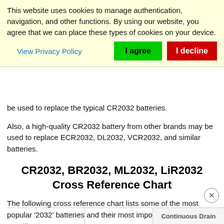This website uses cookies to manage authentication, navigation, and other functions. By using our website, you agree that we can place these types of cookies on your device.
View Privacy Policy
I agree
I decline
be used to replace the typical CR2032 batteries.
Also, a high-quality CR2032 battery from other brands may be used to replace ECR2032, DL2032, VCR2032, and similar batteries.
CR2032, BR2032, ML2032, LiR2032 Cross Reference Chart
The following cross reference chart lists some of the most popular '2032' batteries and their most important features and specifications:
|  |  | Continuous Drain |
| --- | --- | --- |